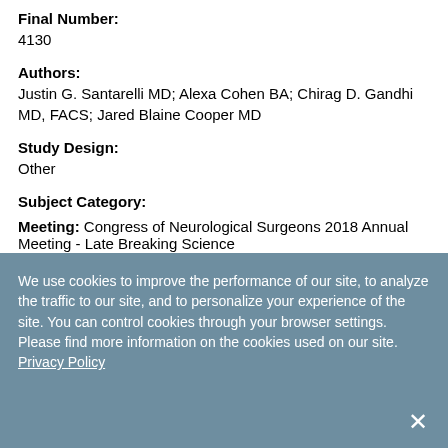Final Number:
4130
Authors:
Justin G. Santarelli MD; Alexa Cohen BA; Chirag D. Gandhi MD, FACS; Jared Blaine Cooper MD
Study Design:
Other
Subject Category:
Meeting:
Congress of Neurological Surgeons 2018 Annual Meeting - Late Breaking Science
We use cookies to improve the performance of our site, to analyze the traffic to our site, and to personalize your experience of the site. You can control cookies through your browser settings. Please find more information on the cookies used on our site. Privacy Policy